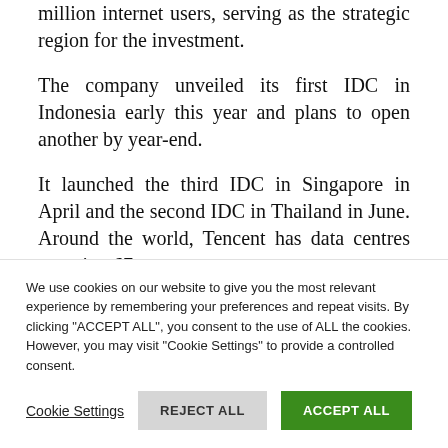million internet users, serving as the strategic region for the investment.
The company unveiled its first IDC in Indonesia early this year and plans to open another by year-end.
It launched the third IDC in Singapore in April and the second IDC in Thailand in June. Around the world, Tencent has data centres covering 67
We use cookies on our website to give you the most relevant experience by remembering your preferences and repeat visits. By clicking "ACCEPT ALL", you consent to the use of ALL the cookies. However, you may visit "Cookie Settings" to provide a controlled consent.